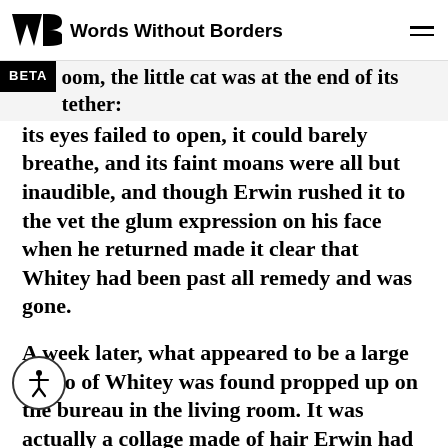Words Without Borders
oom, the little cat was at the end of its tether: its eyes failed to open, it could barely breathe, and its faint moans were all but inaudible, and though Erwin rushed it to the vet the glum expression on his face when he returned made it clear that Whitey had been past all remedy and was gone.
A week later, what appeared to be a large photo of Whitey was found propped up on the bureau in the living room. It was actually a collage made of hair Erwin had clipped from Whitey's coat, but it looked so lifelike that you could hardly tell the difference. Whitey was so amusing, said Erwin's mother. O, how I miss that cat! A few days later,